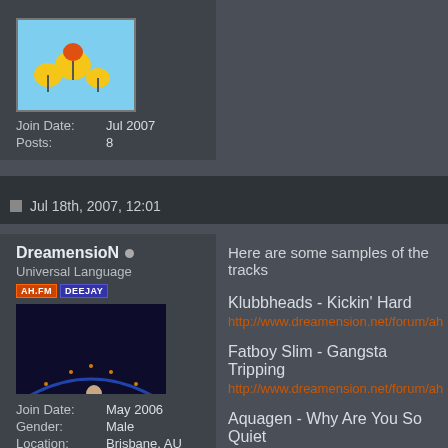[Figure (illustration): Top avatar image — colorful cartoon with yellow figures on blue background]
Join Date:  Jul 2007
Posts:  8
Jul 18th, 2007, 12:01
DreamensioN •
Universal Language
[Figure (photo): Profile photo of a man standing near a harbour bridge at night with colorful lights]
Join Date:  May 2006
Gender:  Male
Location:  Brisbane, AU
Posts:  4,286
Here are some samples of the tracks
Klubbheads - Kickin' Hard
http://www.dreamension.net/forum/ah
Fatboy Slim - Gangsta Tripping
http://www.dreamension.net/forum/ah
Aquagen - Why Are You So Quiet
http://www.dreamension.net/forum/ah